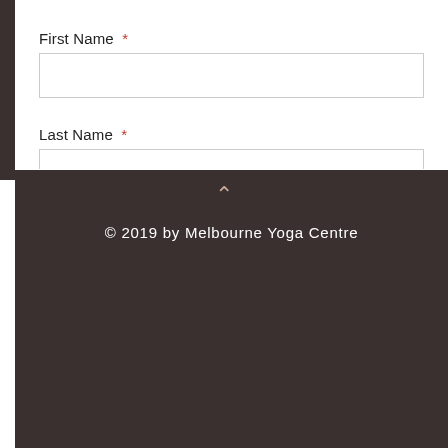First Name *
Last Name *
© 2019 by Melbourne Yoga Centre